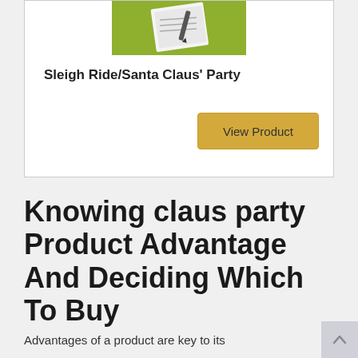[Figure (photo): Product image showing a notebook or paper on a green background]
Sleigh Ride/Santa Claus' Party
View Product
Knowing claus party Product Advantage And Deciding Which To Buy
Advantages of a product are key to its